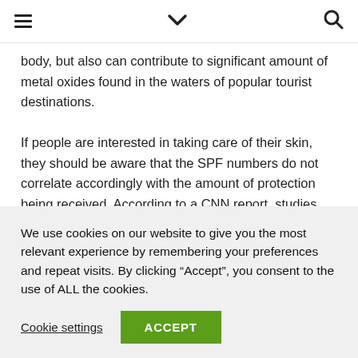Navigation bar with hamburger menu, chevron/dropdown, and search icons
body, but also can contribute to significant amount of metal oxides found in the waters of popular tourist destinations.
If people are interested in taking care of their skin, they should be aware that the SPF numbers do not correlate accordingly with the amount of protection being received. According to a CNN report, studies show that sunscreen with SPF 15 can block about 93%
We use cookies on our website to give you the most relevant experience by remembering your preferences and repeat visits. By clicking “Accept”, you consent to the use of ALL the cookies.